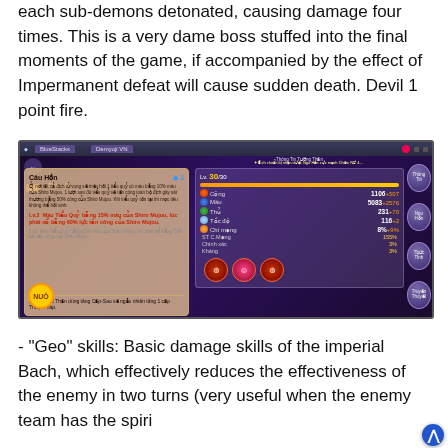each sub-demons detonated, causing damage four times. This is a very dame boss stuffed into the final moments of the game, if accompanied by the effect of Impermanent defeat will cause sudden death. Devil 1 point fire.
[Figure (screenshot): Game screenshot showing a character card for 'Câu Hồn' with stats panel showing Cộng 1106+507, Máu 5083+2576, Thủ 231+70, Tốc độ 116+2, Chí mạng 8%+9%, and skill descriptions in Vietnamese. BlueStacks emulator window.]
- "Geo" skills: Basic damage skills of the imperial Bach, which effectively reduces the effectiveness of the enemy in two turns (very useful when the enemy team has the spiri